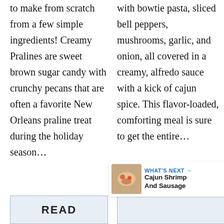to make from scratch from a few simple ingredients! Creamy Pralines are sweet brown sugar candy with crunchy pecans that are often a favorite New Orleans praline treat during the holiday season…
with bowtie pasta, sliced bell peppers, mushrooms, garlic, and onion, all covered in a creamy, alfredo sauce with a kick of cajun spice. This flavor-loaded, comforting meal is sure to get the entire…
WHAT'S NEXT → Cajun Shrimp And Sausage